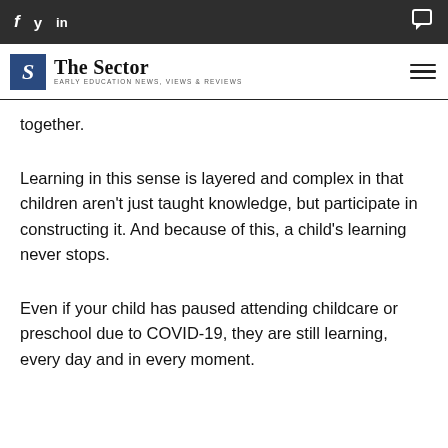f  y  in  [comment icon] — The Sector: Early Education News, Views & Reviews
together.
Learning in this sense is layered and complex in that children aren't just taught knowledge, but participate in constructing it. And because of this, a child's learning never stops.
Even if your child has paused attending childcare or preschool due to COVID-19, they are still learning, every day and in every moment.